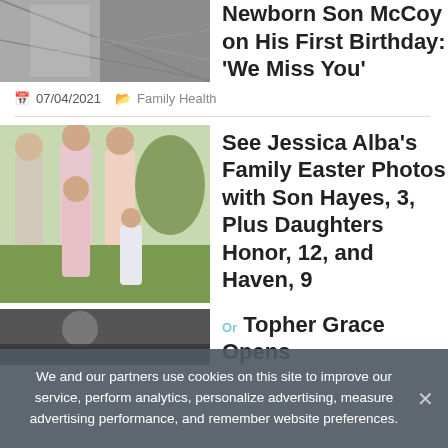[Figure (photo): Partial photo at top left, black and white, cropped]
Newborn Son McCoy on His First Birthday: 'We Miss You'
07/04/2021  Family Health
[Figure (photo): Family Easter photo with Jessica Alba and her family]
See Jessica Alba's Family Easter Photos with Son Hayes, 3, Plus Daughters Honor, 12, and Haven, 9
[Figure (photo): Topher Grace partial photo, dark tones]
Or Topher Grace Opens
We and our partners use cookies on this site to improve our service, perform analytics, personalize advertising, measure advertising performance, and remember website preferences.